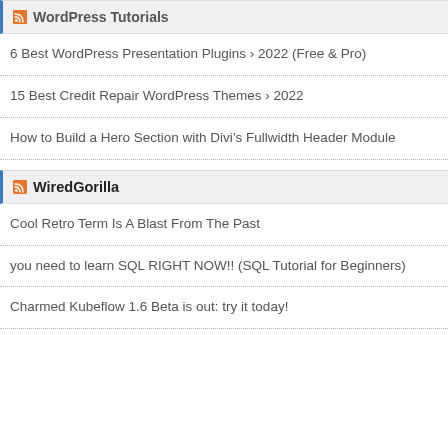WordPress Tutorials
6 Best WordPress Presentation Plugins › 2022 (Free & Pro)
15 Best Credit Repair WordPress Themes › 2022
How to Build a Hero Section with Divi's Fullwidth Header Module
WiredGorilla
Cool Retro Term Is A Blast From The Past
you need to learn SQL RIGHT NOW!! (SQL Tutorial for Beginners)
Charmed Kubeflow 1.6 Beta is out: try it today!